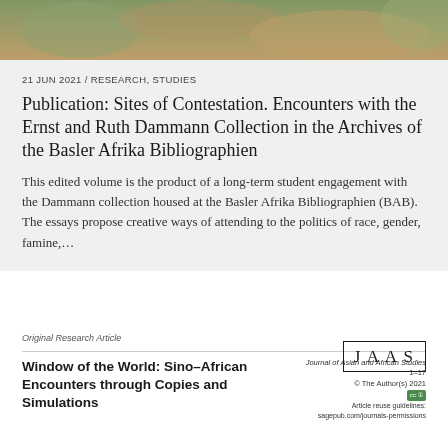[Figure (photo): Close-up photograph of hands or textured surface with warm brown and green tones, used as banner image.]
21 JUN 2021 / RESEARCH, STUDIES
Publication: Sites of Contestation. Encounters with the Ernst and Ruth Dammann Collection in the Archives of the Basler Afrika Bibliographien
This edited volume is the product of a long-term student engagement with the Dammann collection housed at the Basler Afrika Bibliographien (BAB). The essays propose creative ways of attending to the politics of race, gender, famine,…
[Figure (logo): JAAS journal logo — letters J A A S in a rectangular border.]
Original Research Article
Journal of Asian and African Studies
1–17
© The Author(s) 2021
Article reuse guidelines:
sagepub.com/journals-permissions
Window of the World: Sino–African Encounters through Copies and Simulations